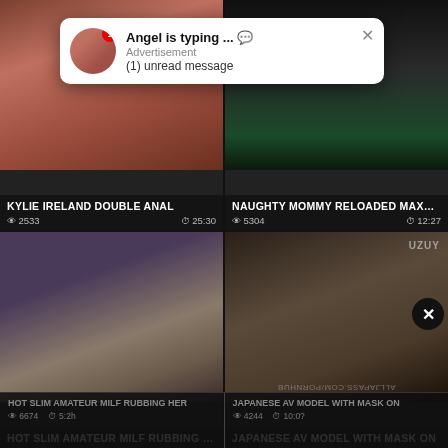[Figure (screenshot): Video thumbnail grid with 4 video cards showing adult content titles, with a popup notification overlay]
Angel is typing ... 💬
Advertisement
(1) unread message
KYLIE IRELAND DOUBLE ANAL
👁 2533   ⏱ 25:30
NAUGHTY MOMMY RELOADED MAXMAX
👁 5304   ⏱ 12:27
HOT SLIM AMATEUR MILF RUBBING HER
👁 6674   ⏱ 5:2h
JAPANESE AV MODEL WITH MASK ON
👁 4244   ⏱ 10:0?
ALLJAPASS.COM/PORNHUB
UZUY